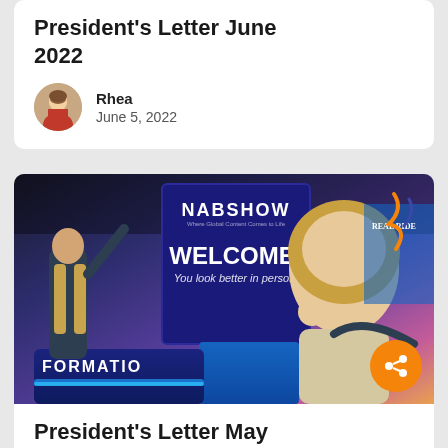President's Letter June 2022
Rhea
June 5, 2022
[Figure (photo): NABShow welcome booth with a woman in sunglasses waving at the camera, and a sign reading WELCOME! You look better in person.]
President's Letter May 2022